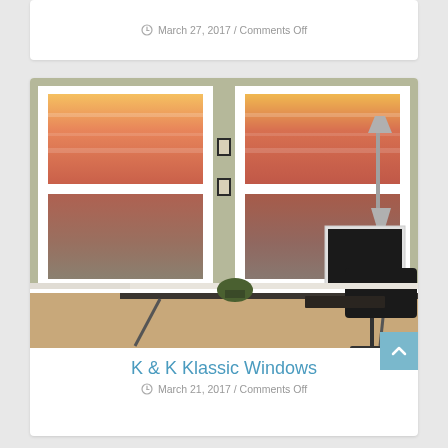March 27, 2017 / Comments Off
[Figure (photo): Interior home office scene with two large double-hung windows showing an orange/red sunset over water, with two framed botanical prints on the wall between the windows, a modern glass-top desk with a computer monitor, keyboard, office chair, and desk lamp]
K & K Klassic Windows
March 21, 2017 / Comments Off